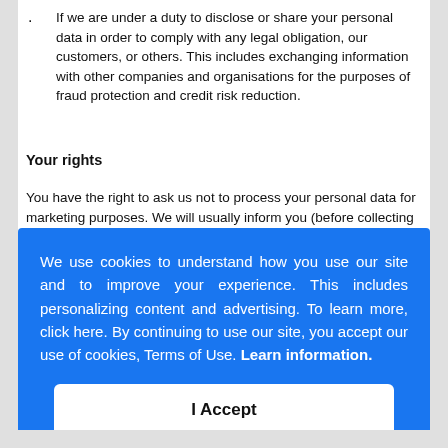If we are under a duty to disclose or share your personal data in order to comply with any legal obligation, our customers, or others. This includes exchanging information with other companies and organisations for the purposes of fraud protection and credit risk reduction.
Your rights
You have the right to ask us not to process your personal data for marketing purposes. We will usually inform you (before collecting your data) if we intend to use your data for such purposes or if we intend to disclose your information to any third party for such purposes. You can exercise your right to prevent such processing...
We use cookies to understand how you use our site and to improve your experience. This includes personalizing content and advertising. To learn more, click here. By continuing to use our site, you accept our use of cookies, Terms of Use. Learn information.